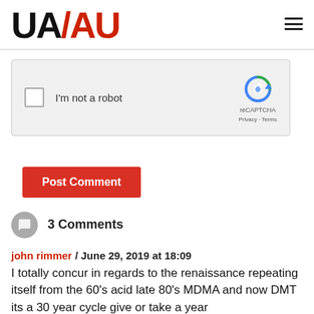[Figure (logo): UA/AU logo in black and red]
[Figure (screenshot): reCAPTCHA widget: checkbox labeled I'm not a robot with reCAPTCHA logo, Privacy and Terms links]
Post Comment
3 Comments
john rimmer / June 29, 2019 at 18:09
I totally concur in regards to the renaissance repeating itself from the 60's acid late 80's MDMA and now DMT its a 30 year cycle give or take a year